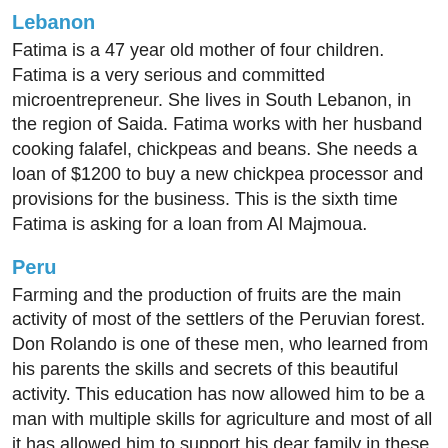Lebanon
Fatima is a 47 year old mother of four children. Fatima is a very serious and committed microentrepreneur. She lives in South Lebanon, in the region of Saida. Fatima works with her husband cooking falafel, chickpeas and beans. She needs a loan of $1200 to buy a new chickpea processor and provisions for the business. This is the sixth time Fatima is asking for a loan from Al Majmoua.
Peru
Farming and the production of fruits are the main activity of most of the settlers of the Peruvian forest. Don Rolando is one of these men, who learned from his parents the skills and secrets of this beautiful activity. This education has now allowed him to be a man with multiple skills for agriculture and most of all it has allowed him to support his dear family in these days of multiple economic problems. He has a partner and his desire is to get married and build a small house and condition it to open a small grocery store to help with the